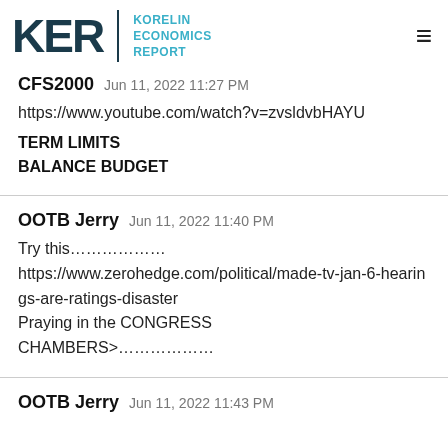KER KORELIN ECONOMICS REPORT
CFS2000 Jun 11, 2022 11:27 PM
https://www.youtube.com/watch?v=zvsldvbHAYU
TERM LIMITS
BALANCE BUDGET
OOTB Jerry Jun 11, 2022 11:40 PM
Try this…………….
https://www.zerohedge.com/political/made-tv-jan-6-hearings-are-ratings-disaster
Praying in the CONGRESS CHAMBERS>………………
OOTB Jerry Jun 11, 2022 11:43 PM